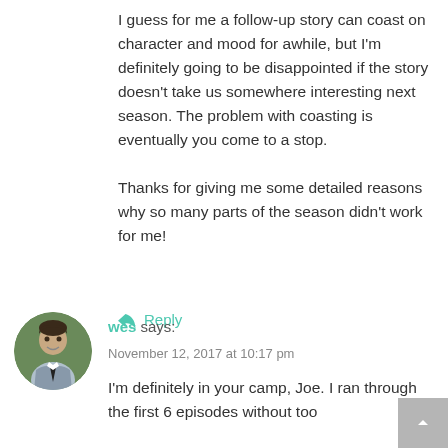I guess for me a follow-up story can coast on character and mood for awhile, but I'm definitely going to be disappointed if the story doesn't take us somewhere interesting next season. The problem with coasting is eventually you come to a stop.

Thanks for giving me some detailed reasons why so many parts of the season didn't work for me!
↩ Reply
[Figure (photo): Circular avatar photo of a man in a suit and tie, smiling]
wes says:
November 12, 2017 at 10:17 pm
I'm definitely in your camp, Joe. I ran through the first 6 episodes without too